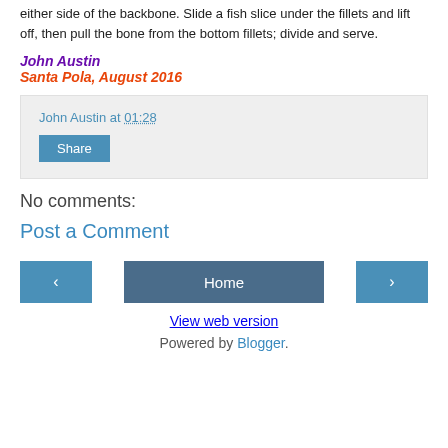either side of the backbone. Slide a fish slice under the fillets and lift off, then pull the bone from the bottom fillets; divide and serve.
John Austin
Santa Pola, August 2016
John Austin at 01:28
Share
No comments:
Post a Comment
‹  Home  ›
View web version
Powered by Blogger.